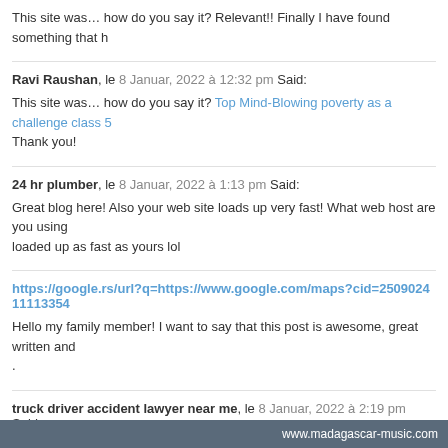This site was… how do you say it? Relevant!! Finally I have found something that h
Ravi Raushan, le 8 Januar, 2022 à 12:32 pm Said:
This site was… how do you say it? Top Mind-Blowing poverty as a challenge class 5
Thank you!
24 hr plumber, le 8 Januar, 2022 à 1:13 pm Said:
Great blog here! Also your web site loads up very fast! What web host are you using loaded up as fast as yours lol
https://google.rs/url?q=https://www.google.com/maps?cid=250902411113354
Hello my family member! I want to say that this post is awesome, great written and .
truck driver accident lawyer near me, le 8 Januar, 2022 à 2:19 pm Said:
Very good post! We are linking to this particularly great content on our website. Kee
dog bite injury lawyer near me, le 8 Januar, 2022 à 2:37 pm Said:
I blog quite often and I seriously thank you for your information. Your article has trul
www.madagascar-music.com